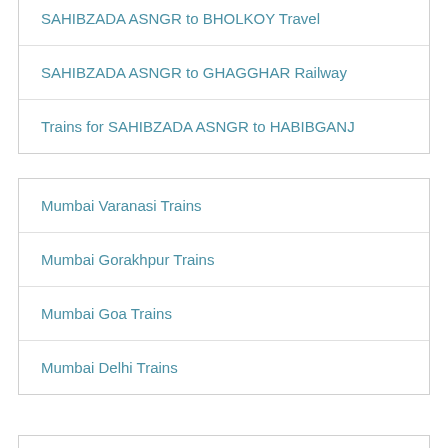SAHIBZADA ASNGR to BHOLKOY Travel
SAHIBZADA ASNGR to GHAGGHAR Railway
Trains for SAHIBZADA ASNGR to HABIBGANJ
Mumbai Varanasi Trains
Mumbai Gorakhpur Trains
Mumbai Goa Trains
Mumbai Delhi Trains
Bangalore Goa Trains
Delhi Goa Trains